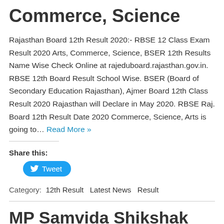Commerce, Science
Rajasthan Board 12th Result 2020:- RBSE 12 Class Exam Result 2020 Arts, Commerce, Science, BSER 12th Results Name Wise Check Online at rajeduboard.rajasthan.gov.in. RBSE 12th Board Result School Wise. BSER (Board of Secondary Education Rajasthan), Ajmer Board 12th Class Result 2020 Rajasthan will Declare in May 2020. RBSE Raj. Board 12th Result Date 2020 Commerce, Science, Arts is going to… Read More »
Share this:
Tweet
Category:  12th Result  Latest News  Result
MP Samvida Shikshak